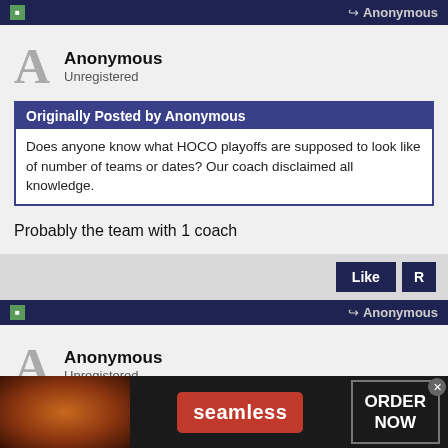Anonymous
Anonymous
Unregistered
Originally Posted by Anonymous
Does anyone know what HOCO playoffs are supposed to look like of number of teams or dates? Our coach disclaimed all knowledge.
Probably the team with 1 coach
Anonymous
Anonymous
Unregistered
[Figure (screenshot): Seamless food delivery advertisement with pizza image, seamless logo, and ORDER NOW button]